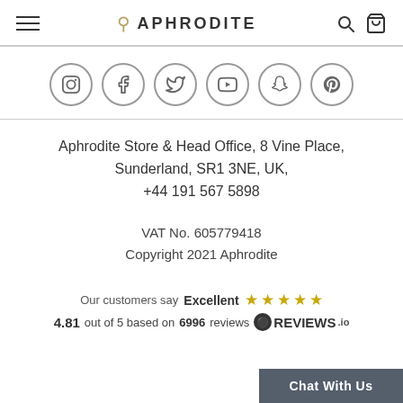[Figure (logo): Aphrodite store logo with linked rings symbol and brand name APHRODITE, plus hamburger menu, search and bag icons]
[Figure (infographic): Row of six social media icon circles: Instagram, Facebook, Twitter, YouTube, Snapchat, Pinterest]
Aphrodite Store & Head Office, 8 Vine Place, Sunderland, SR1 3NE, UK, +44 191 567 5898
VAT No. 605779418
Copyright 2021 Aphrodite
Our customers say Excellent ★★★★★ 4.81 out of 5 based on 6996 reviews — REVIEWS.io
Chat With Us